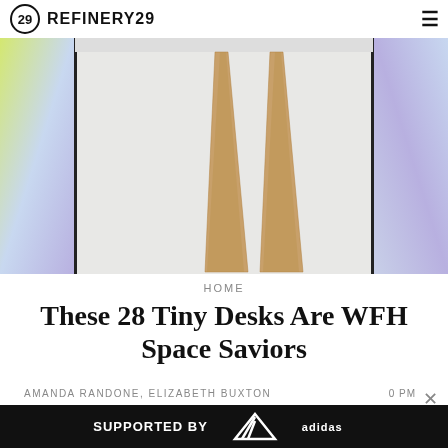REFINERY29
[Figure (photo): Close-up photo of a white desk or table with four thin wooden tapered legs on a white background, flanked by colorful gradient panels on the sides]
HOME
These 28 Tiny Desks Are WFH Space Saviors
AMANDA RANDONE, ELIZABETH BUXTON
[Figure (other): Advertisement banner: SUPPORTED BY adidas logo, with a partial image of a person on the right]